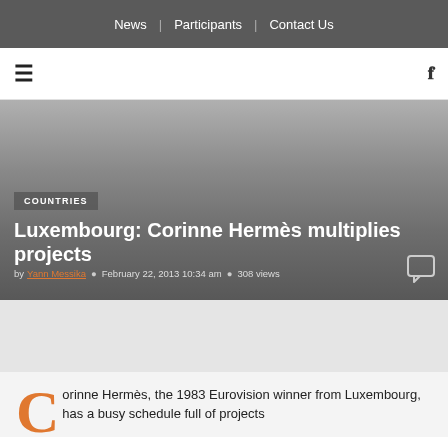News | Participants | Contact Us
[Figure (infographic): Hamburger menu icon on the left and search icon on the right in a white toolbar]
COUNTRIES
Luxembourg: Corinne Hermès multiplies projects
by Yann Messika  February 22, 2013 10:34 am  308 views
Corinne Hermès, the 1983 Eurovision winner from Luxembourg, has a busy schedule full of projects